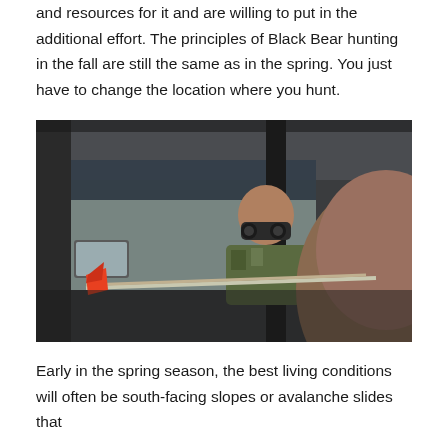and resources for it and are willing to put in the additional effort. The principles of Black Bear hunting in the fall are still the same as in the spring. You just have to change the location where you hunt.
[Figure (photo): Two hunters inside a vehicle; one in the foreground holds an arrow with an orange fletching, while another in the background looks through binoculars out the truck window.]
Early in the spring season, the best living conditions will often be south-facing slopes or avalanche slides that